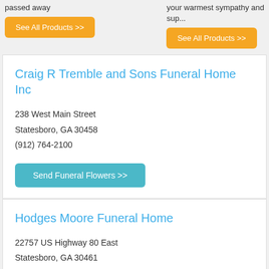passed away
your warmest sympathy and sup...
See All Products >>
See All Products >>
Craig R Tremble and Sons Funeral Home Inc
238 West Main Street
Statesboro, GA 30458
(912) 764-2100
Send Funeral Flowers >>
Hodges Moore Funeral Home
22757 US Highway 80 East
Statesboro, GA 30461
(912) 489-2580
Send Funeral Flowers >>